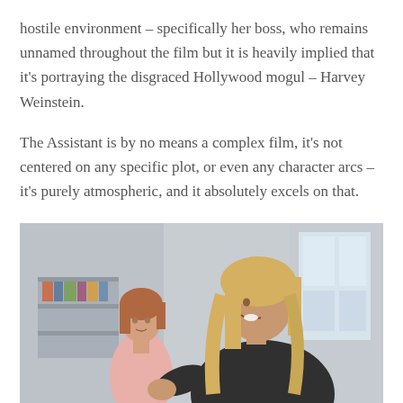hostile environment – specifically her boss, who remains unnamed throughout the film but it is heavily implied that it's portraying the disgraced Hollywood mogul – Harvey Weinstein.
The Assistant is by no means a complex film, it's not centered on any specific plot, or even any character arcs – it's purely atmospheric, and it absolutely excels on that.
[Figure (photo): A scene from The Assistant film showing two women in an office environment. In the background a woman with reddish hair in a pink top looks on, while in the foreground a smiling blonde woman in a dark top gestures with her hand.]